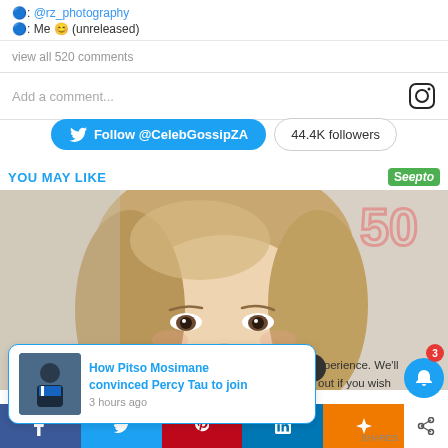🔵: @rz_photography
🔵: Me 😊 (unreleased)
view all 520 comments
Add a comment...
Follow @CelebGossipZA  44.4K followers
YOU MAY LIKE
[Figure (photo): Close-up photo of a woman with blonde hair, dark eyes, and light makeup against a light background with partial text/logo visible.]
[Figure (infographic): Notification popup card: 'How Pitso Mosimane convinced Percy Tau to join' with thumbnail image and timestamp '3 hours ago'. Blue border card with X close button.]
xperience. We'll
out if you wish
[Figure (infographic): Social share bar with Facebook, Twitter, Pinterest, LinkedIn, Mix buttons and a share icon. Bell notification icon with badge showing 3.]